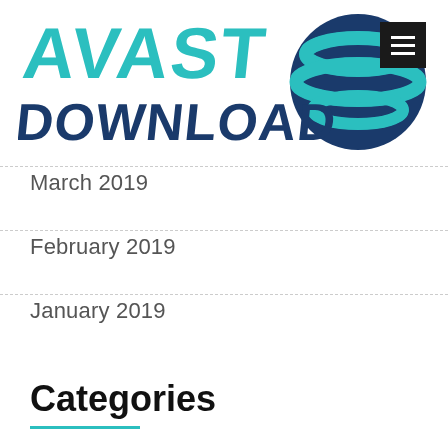[Figure (logo): Avast Download logo with stylized teal and navy text and globe graphic]
March 2019
February 2019
January 2019
Categories